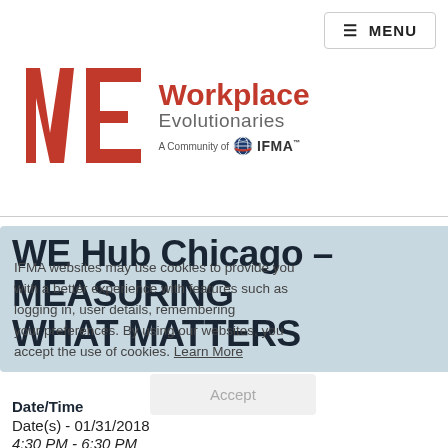≡ MENU
[Figure (logo): Workplace Evolutionaries logo - WE letters in red with 'Workplace Evolutionaries' text and 'A Community of IFMA' tagline]
WE Hub Chicago – MEASURING WHAT MATTERS
IFMA websites may use cookies to provide you with a better experience with features such as logging in, user details, remembering your preferences. By using our websites, you accept the use of cookies. Learn More
Accept
Date/Time
Date(s) - 01/31/2018
4:30 PM - 6:30 PM